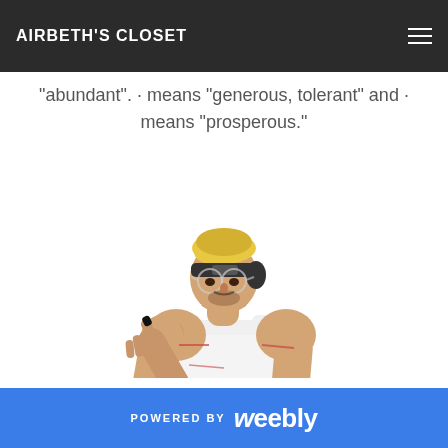AIRBETH'S CLOSET
"abundant". · means "generous, tolerant" and · means "prosperous."
[Figure (illustration): 3D rendered muscular male avatar with blond hair pulled back with a dark headband, round glasses, wearing a white sleeveless tank top and dark pants. The character is making a hand gesture pointing upward with one hand and has the other hand on his hip. Red accent lines on arms and chest area. Gray shadow behind the figure.]
POWERED BY weebly